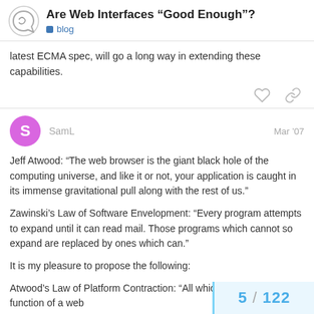Are Web Interfaces “Good Enough”? | blog
latest ECMA spec, will go a long way in extending these capabilities.
SamL  Mar ’07
Jeff Atwood: “The web browser is the giant black hole of the computing universe, and like it or not, your application is caught in its immense gravitational pull along with the rest of us.”
Zawinski’s Law of Software Envelopment: “Every program attempts to expand until it can read mail. Those programs which cannot so expand are replaced by ones which can.”
It is my pleasure to propose the following:
Atwood’s Law of Platform Contraction: “All which do not support the function of a web…
5 / 122